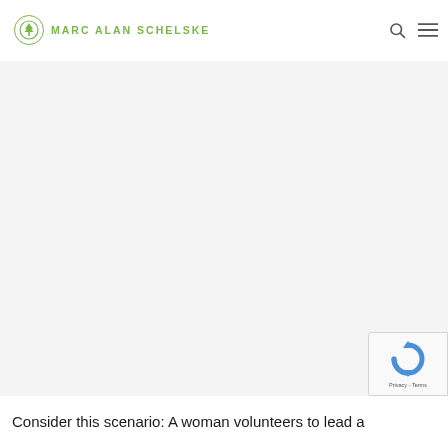MARC ALAN SCHELSKE
[Figure (illustration): Large blank/light gray content area, presumably an image placeholder]
[Figure (logo): Google reCAPTCHA badge with spinning arrows logo and Privacy - Terms text]
Consider this scenario: A woman volunteers to lead a